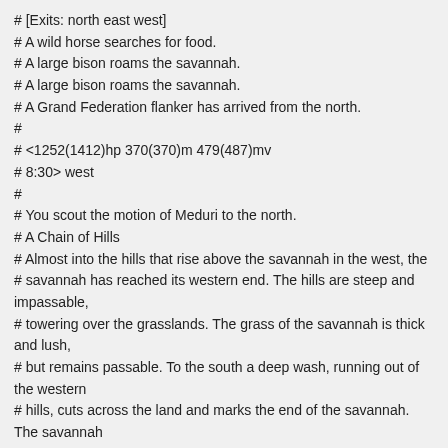# [Exits: north east west]
# A wild horse searches for food.
# A large bison roams the savannah.
# A large bison roams the savannah.
# A Grand Federation flanker has arrived from the north.
#
# <1252(1412)hp 370(370)m 479(487)mv
# 8:30> west
#
# You scout the motion of Meduri to the north.
# A Chain of Hills
# Almost into the hills that rise above the savannah in the west, the
# savannah has reached its western end. The hills are steep and impassable,
# towering over the grasslands. The grass of the savannah is thick and lush,
# but remains passable. To the south a deep wash, running out of the western
# hills, cuts across the land and marks the end of the savannah. The savannah
# continues along the edge of the hills to the north, and heads away from the
# hills to the east.
#
# [Exits: north east]